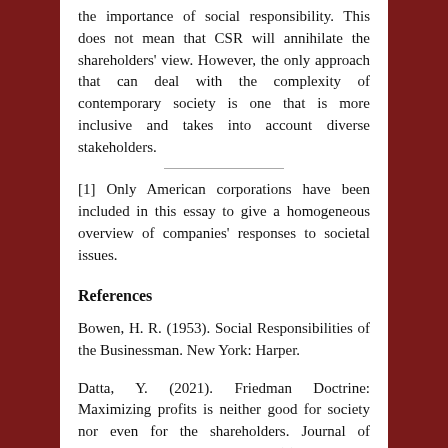the importance of social responsibility. This does not mean that CSR will annihilate the shareholders' view. However, the only approach that can deal with the complexity of contemporary society is one that is more inclusive and takes into account diverse stakeholders.
[1] Only American corporations have been included in this essay to give a homogeneous overview of companies' responses to societal issues.
References
Bowen, H. R. (1953). Social Responsibilities of the Businessman. New York: Harper.
Datta, Y. (2021). Friedman Doctrine: Maximizing profits is neither good for society nor even for the shareholders. Journal of Economics and Public Finance, 7(3), 153-191.
Freeman, R. E. (1984). Strategic Management: A